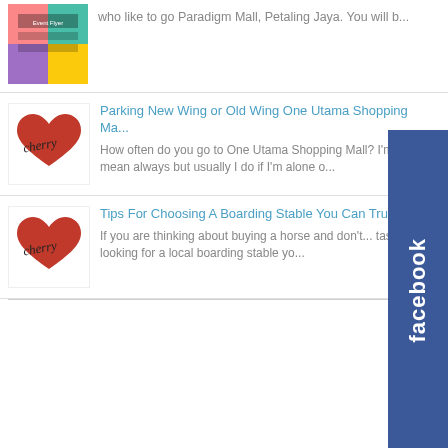[Figure (screenshot): Colorful event flyer thumbnail for Paradigm Mall Petaling Jaya]
who like to go Paradigm Mall, Petaling Jaya. You will b...
[Figure (logo): Cherry script logo with red heart]
Parking New Wing or Old Wing One Utama Shopping Ma...
How often do you go to One Utama Shopping Mall? I'm al... mean always but usually I do if I'm alone o...
[Figure (logo): Cherry script logo with red heart]
Tips For Choosing A Boarding Stable You Can Tru...
If you are thinking about buying a horse and don't... tasked with looking for a local boarding stable yo...
[Figure (screenshot): Facebook sidebar tab widget]